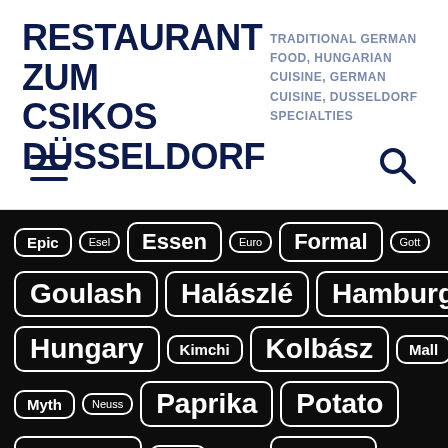RESTAURANT ZUM CSIKOS DÜSSELDORF
TRADITIONAL GERMAN FOOD, HUNGARIAN CUISINE, GERMAN CUISINE, DUSSELDORF SPECIALTIES
[Figure (other): Hamburger menu icon and search icon navigation bar]
Epic
Esel
Essen
Euro
Formal
Gott
Goulash
Halászlé
Hamburg
Hungary
Kimchi
Kolbász
Mall
Myth
Neuss
Paprika
Potato
Pörkölt
Real
Rhine
Steak
Strudel
Sushi
Swabia
Tanz
Trout